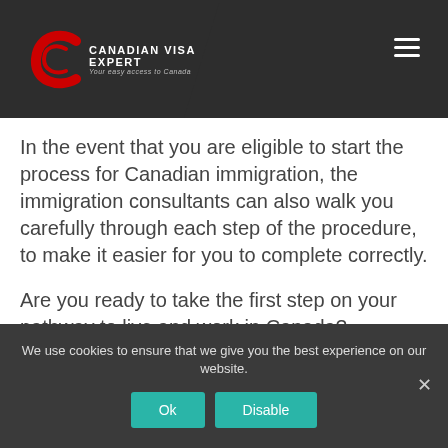Canadian Visa Expert — Your easy access to Canada
In the event that you are eligible to start the process for Canadian immigration, the immigration consultants can also walk you carefully through each step of the procedure, to make it easier for you to complete correctly.
Are you ready to take the first step on your pathway to live and work in Canada?
START MY PROCESS NOW!
We use cookies to ensure that we give you the best experience on our website.